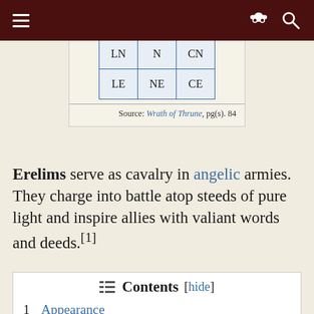Navigation bar with menu and search icons
| LN | N | CN |
| LE | NE | CE |
Source: Wrath of Thrune, pg(s). 84
Erelims serve as cavalry in angelic armies. They charge into battle atop steeds of pure light and inspire allies with valiant words and deeds.[1]
Contents [hide]
1  Appearance
2  Ecology
3  Society
4  References